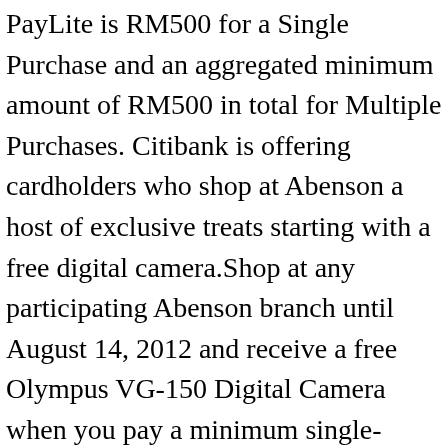PayLite is RM500 for a Single Purchase and an aggregated minimum amount of RM500 in total for Multiple Purchases. Citibank is offering cardholders who shop at Abenson a host of exclusive treats starting with a free digital camera.Shop at any participating Abenson branch until August 14, 2012 and receive a free Olympus VG-150 Digital Camera when you pay a minimum single-receipt purchase of P50,000 via Citibank's 0% PayLite installment plan. Thus within the purview of these Terms and Conditions, the term "Bank" refers to Citibank, Bangkok Branch. Anyway, the merchant reached out and told me they will not be able to fulfill my order and cancelled it today. I've been billed the approval fee. 3. A few days ago, I availed Citi's paylite after-purchase and was approved. ... P300 applicable to Citi PayLite and Citi PayLite after purchase. "Credit